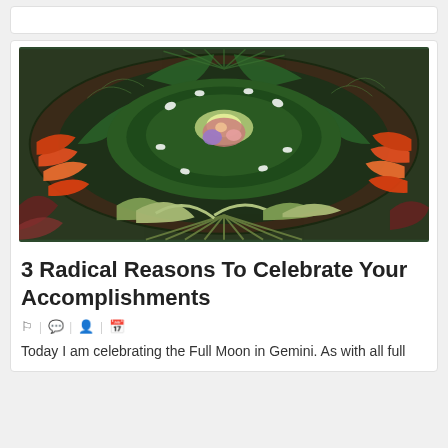[Figure (photo): A circular mandala made from tropical leaves, ferns, palm fronds, and colorful flowers arranged on dark soil, with crystals and stones placed in the center. Vibrant orange-red heliconia flowers are visible around the edges.]
3 Radical Reasons To Celebrate Your Accomplishments
Today I am celebrating the Full Moon in Gemini. As with all full